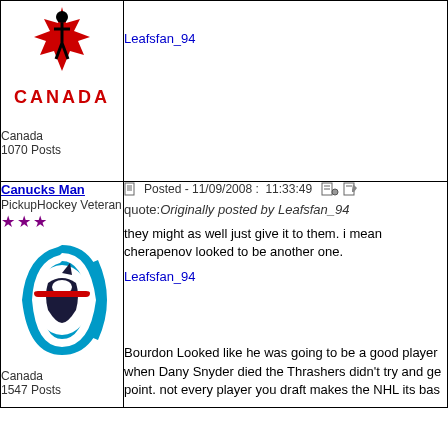[Figure (logo): Team Canada hockey logo with red maple leaf and hockey player, text CANADA in red]
Canada
1070 Posts
Leafsfan_94
Canucks Man
PickupHockey Veteran
★★★
[Figure (logo): Vancouver Canucks orca/killer whale logo in blue and green]
Canada
1547 Posts
Posted - 11/09/2008 : 11:33:49
quote:Originally posted by Leafsfan_94

they might as well just give it to them. i mean cherapenov looked to be another one.
Leafsfan_94
Bourdon Looked like he was going to be a good player when Dany Snyder died the Thrashers didn't try and ge point. not every player you draft makes the NHL its bas